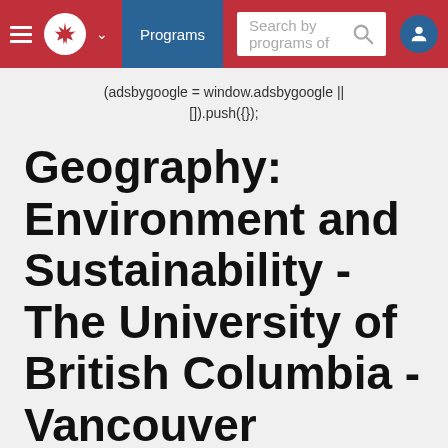[Figure (screenshot): Navigation bar with hamburger menu, maple leaf logo, Programs button, search bar, and user icon on red background]
(adsbygoogle = window.adsbygoogle || []).push({});
Geography: Environment and Sustainability - The University of British Columbia - Vancouver
Quick Facts
Profile
Admissions
Fees
Financial Aid
Programs